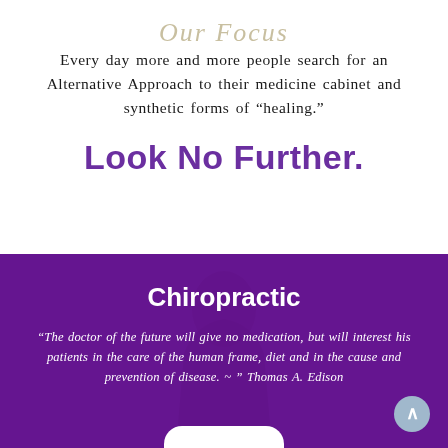Our Focus
Every day more and more people search for an Alternative Approach to their medicine cabinet and synthetic forms of “healing.”
Look No Further.
[Figure (photo): Purple-toned background with a silhouette of a person holding their head, overlaid with a dark purple transparent overlay.]
Chiropractic
“The doctor of the future will give no medication, but will interest his patients in the care of the human frame, diet and in the cause and prevention of disease. ~ ” Thomas A. Edison